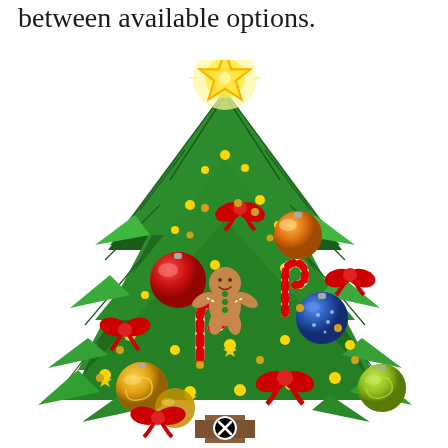between available options.
[Figure (illustration): A decorated Christmas tree with a gold star on top, red bows, colorful ornaments (red, orange, blue, yellow-green), candy canes, a gingerbread man, and string lights. A small black circle with an X icon appears at the bottom center.]